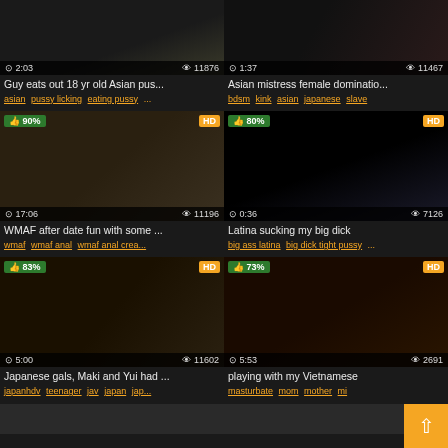[Figure (screenshot): Video thumbnail grid of adult content website showing 6 video cards in 2-column layout]
Guy eats out 18 yr old Asian pus...
asian pussy licking eating pussy ...
Asian mistress female dominatio...
bdsm kink asian japanese slave
WMAF after date fun with some ...
wmaf wmaf anal wmaf anal crea...
Latina sucking my big dick
big ass latina big dick tight pussy ...
Japanese gals, Maki and Yui had ...
japanhdv teenager jav japan jap...
playing with my Vietnamese
masturbate mom mother mi